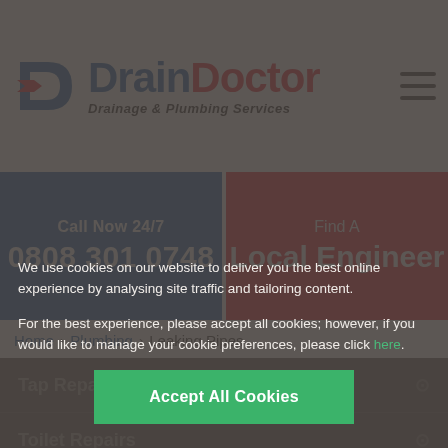[Figure (logo): Drain Doctor logo with blue D icon, blue 'Drain' and red 'Doctor' text, subtitle 'Drainage & Plumbing Services']
Call Now 24/7
0808 301 0748
Find A
Local Engineer
Home > Plumbing > Leaking Pipes
We use cookies on our website to deliver you the best online experience by analysing site traffic and tailoring content.
For the best experience, please accept all cookies; however, if you would like to manage your cookie preferences, please click here.
Accept All Cookies
Tap Repairs
Toilet Repairs